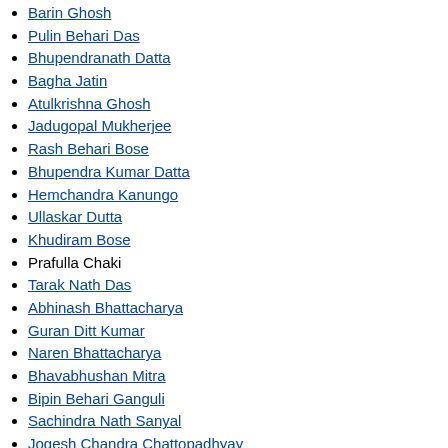Barin Ghosh
Pulin Behari Das
Bhupendranath Datta
Bagha Jatin
Atulkrishna Ghosh
Jadugopal Mukherjee
Rash Behari Bose
Bhupendra Kumar Datta
Hemchandra Kanungo
Ullaskar Dutta
Khudiram Bose
Prafulla Chaki
Tarak Nath Das
Abhinash Bhattacharya
Guran Ditt Kumar
Naren Bhattacharya
Bhavabhushan Mitra
Bipin Behari Ganguli
Sachindra Nath Sanyal
Jogesh Chandra Chattopadhyay
Pratul Chandra Ganguli
Hindustan Republican Association
Narendra Mohan Sen
M. N. Roy
Jatin Das